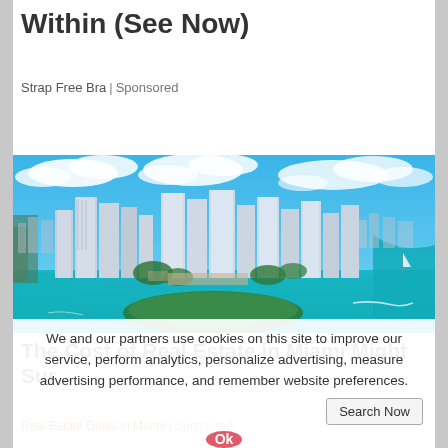Within (See Now)
Strap Free Bra | Sponsored
[Figure (photo): Aerial photograph of Miami downtown skyline with turquoise biscayne bay water, white skyscrapers, and blue cloudy sky]
The Cost of Real Estate in Miami Might Surprise You
Real Estate Deals in Miami | Sponsored
We and our partners use cookies on this site to improve our service, perform analytics, personalize advertising, measure advertising performance, and remember website preferences.
Ok